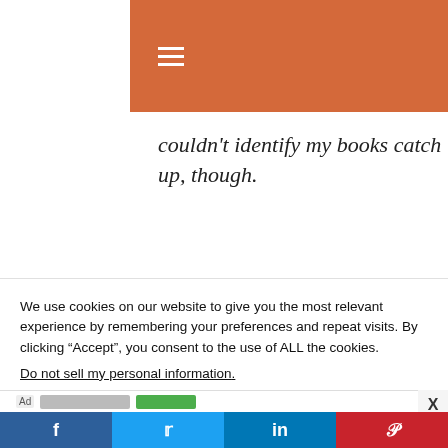Navigation bar with hamburger menu and search icon
couldn't identify my books catch up, though.
We use cookies on our website to give you the most relevant experience by remembering your preferences and repeat visits. By clicking “Accept”, you consent to the use of ALL the cookies.
Do not sell my personal information.
Share bar: Facebook, Twitter, LinkedIn, Pinterest